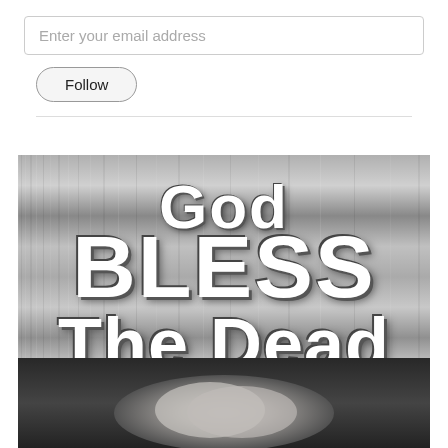Enter your email address
Follow
[Figure (illustration): Graphic with metallic brushed steel background showing the text 'God BLESS The Dead' in large bold white letters with shadow effect, above a black and white photo of clasped/praying hands.]